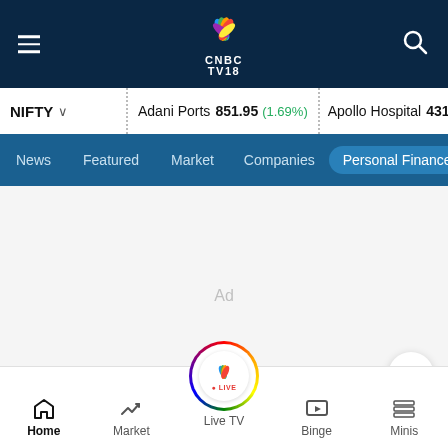CNBC TV18
NIFTY  Adani Ports 851.95 (1.69%)  Apollo Hospital 4312.35 (0.8...)
News  Featured  Market  Companies  Personal Finance
[Figure (other): Advertisement placeholder area with 'Ad' text centered]
As of March 31, Axis mana... assets worth Rs 2.5 lakh
Home  Market  Live TV  Binge  Minis